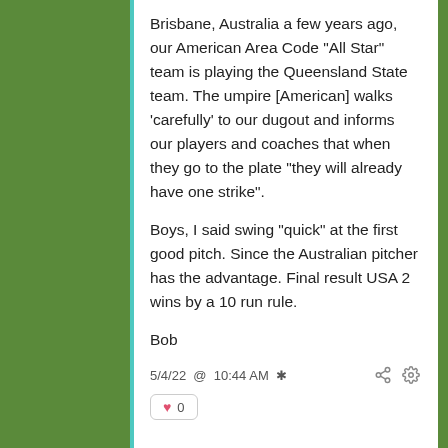Brisbane, Australia a few years ago, our American Area Code "All Star" team is playing the Queensland State team. The umpire [American] walks 'carefully' to our dugout and informs our players and coaches that when they go to the plate "they will already have one strike".

Boys, I said swing "quick" at the first good pitch. Since the Australian pitcher has the advantage. Final result USA 2 wins by a 10 run rule.

Bob
5/4/22 @ 10:44 AM ✱